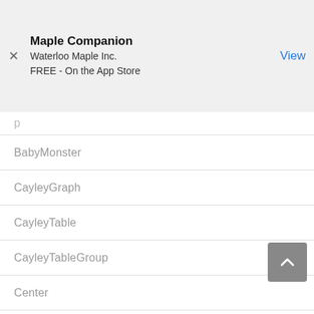Maple Companion
Waterloo Maple Inc.
FREE - On the App Store
BabyMonster
CayleyGraph
CayleyTable
CayleyTableGroup
Center
Centralizer
CFSG
Character
CharacterTable